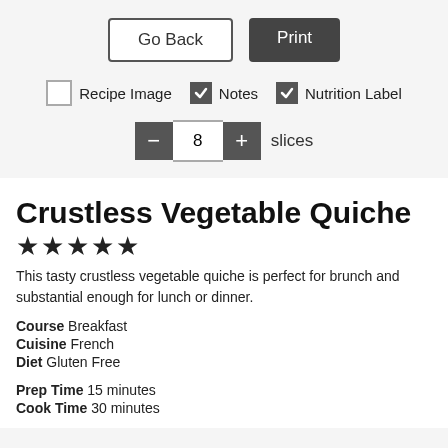[Figure (screenshot): UI controls: 'Go Back' button (outlined) and 'Print' button (dark filled)]
[Figure (screenshot): Checkbox row: unchecked 'Recipe Image', checked 'Notes', checked 'Nutrition Label']
[Figure (screenshot): Stepper control showing minus button, value 8, plus button, label 'slices']
Crustless Vegetable Quiche
[Figure (other): 5 star rating icons]
This tasty crustless vegetable quiche is perfect for brunch and substantial enough for lunch or dinner.
Course  Breakfast
Cuisine  French
Diet  Gluten Free
Prep Time  15 minutes
Cook Time  30 minutes